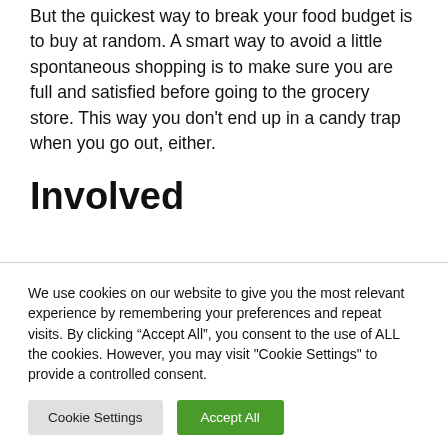But the quickest way to break your food budget is to buy at random. A smart way to avoid a little spontaneous shopping is to make sure you are full and satisfied before going to the grocery store. This way you don't end up in a candy trap when you go out, either.
Involved
We use cookies on our website to give you the most relevant experience by remembering your preferences and repeat visits. By clicking "Accept All", you consent to the use of ALL the cookies. However, you may visit "Cookie Settings" to provide a controlled consent.